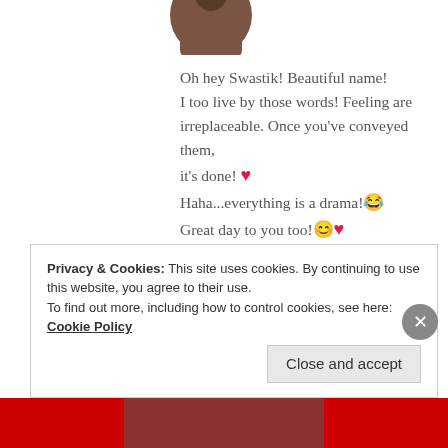[Figure (photo): Circular avatar photo of a person, cropped at top]
Oh hey Swastik! Beautiful name! I too live by those words! Feeling are irreplaceable. Once you've conveyed them, it's done! ❤️ Haha...everything is a drama!😂 Great day to you too!😊❤️
★ Liked by 1 person
Privacy & Cookies: This site uses cookies. By continuing to use this website, you agree to their use.
To find out more, including how to control cookies, see here: Cookie Policy
Close and accept